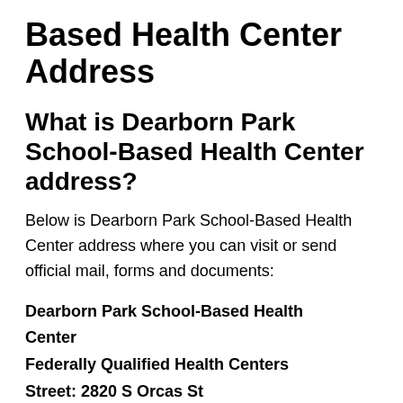Based Health Center Address
What is Dearborn Park School-Based Health Center address?
Below is Dearborn Park School-Based Health Center address where you can visit or send official mail, forms and documents:
Dearborn Park School-Based Health Center
Federally Qualified Health Centers
Street: 2820 S Orcas St